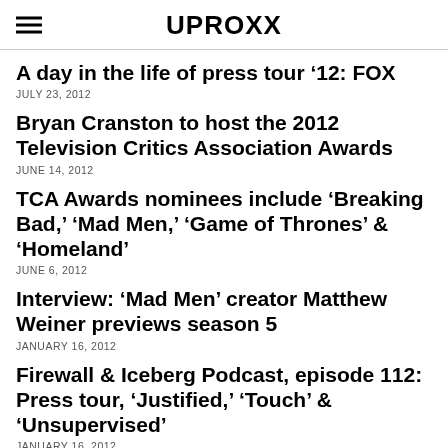UPROXX
A day in the life of press tour '12: FOX
JULY 23, 2012
Bryan Cranston to host the 2012 Television Critics Association Awards
JUNE 14, 2012
TCA Awards nominees include 'Breaking Bad,' 'Mad Men,' 'Game of Thrones' & 'Homeland'
JUNE 6, 2012
Interview: 'Mad Men' creator Matthew Weiner previews season 5
JANUARY 16, 2012
Firewall & Iceberg Podcast, episode 112: Press tour, 'Justified,' 'Touch' & 'Unsupervised'
JANUARY 16, 2012
Press tour: Judd Apatow talks 'Girls,' 'Bridesmaids'